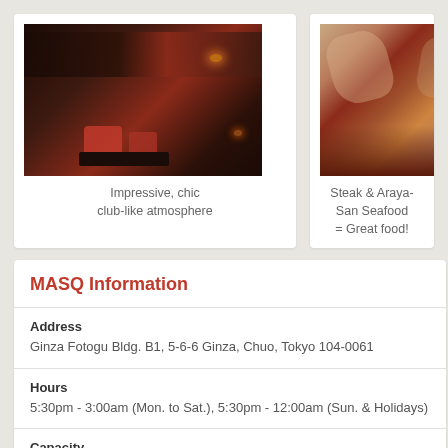[Figure (photo): Dark, moody interior of MASQ restaurant with red chairs, ambient lighting, and bar area]
Impressive, chic club-like atmosphere
[Figure (photo): Close-up of raw steak cuts showing marbling]
Steak & Araya-San Seafood = Great food!
MASQ Information
Address
Ginza Fotogu Bldg. B1, 5-6-6 Ginza, Chuo, Tokyo 104-0061
Hours
5:30pm - 3:00am (Mon. to Sat.), 5:30pm - 12:00am (Sun. & Holidays)
Capacity
47
Prices